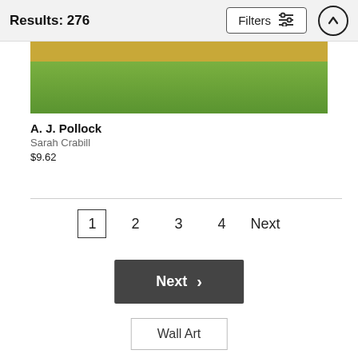Results: 276   Filters
[Figure (photo): Cropped sports field photo showing golden/yellow and green grass]
A. J. Pollock
Sarah Crabill
$9.62
1  2  3  4  Next
Next >
Wall Art